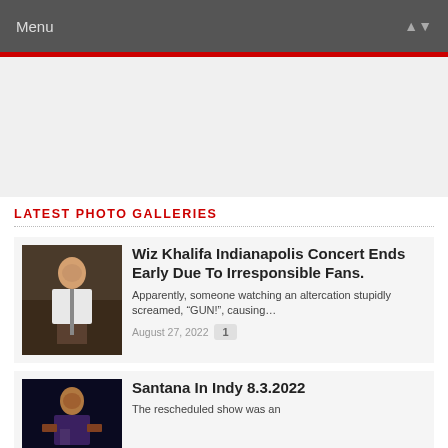Menu
LATEST PHOTO GALLERIES
Wiz Khalifa Indianapolis Concert Ends Early Due To Irresponsible Fans.
Apparently, someone watching an altercation stupidly screamed, “GUN!”, causing…
August 27, 2022  1
Santana In Indy 8.3.2022
The rescheduled show was an